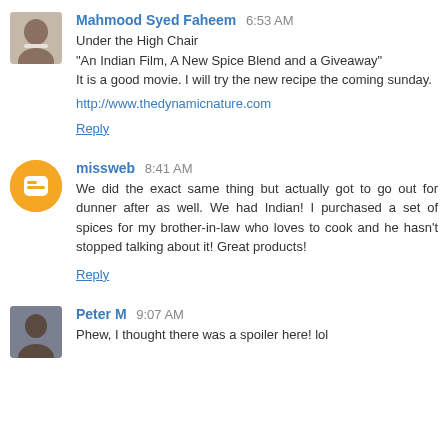Mahmood Syed Faheem 6:53 AM
Under the High Chair
"An Indian Film, A New Spice Blend and a Giveaway"
It is a good movie. I will try the new recipe the coming sunday.
http://www.thedynamicnature.com
Reply
missweb 8:41 AM
We did the exact same thing but actually got to go out for dunner after as well. We had Indian! I purchased a set of spices for my brother-in-law who loves to cook and he hasn't stopped talking about it! Great products!
Reply
Peter M 9:07 AM
Phew, I thought there was a spoiler here! lol